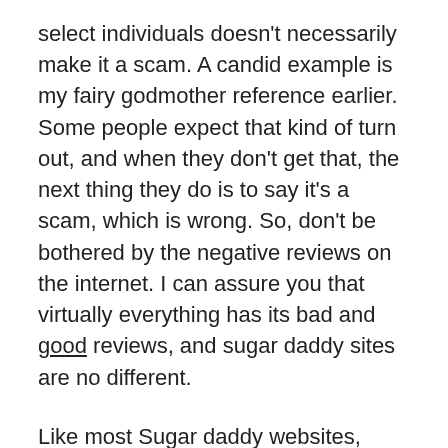select individuals doesn't necessarily make it a scam. A candid example is my fairy godmother reference earlier. Some people expect that kind of turn out, and when they don't get that, the next thing they do is to say it's a scam, which is wrong. So, don't be bothered by the negative reviews on the internet. I can assure you that virtually everything has its bad and good reviews, and sugar daddy sites are no different.
Like most Sugar daddy websites, MissTravel is no different, it has its own fair share of scammers, but you can't really blame them, its member base houses about a million users, so it's almost impossible to sieve out all the scammers.